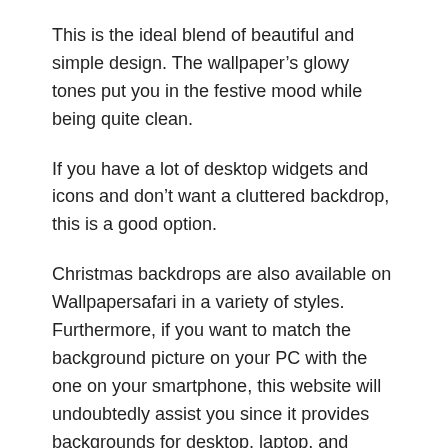This is the ideal blend of beautiful and simple design. The wallpaper’s glowy tones put you in the festive mood while being quite clean.
If you have a lot of desktop widgets and icons and don’t want a cluttered backdrop, this is a good option.
Christmas backdrops are also available on Wallpapersafari in a variety of styles. Furthermore, if you want to match the background picture on your PC with the one on your smartphone, this website will undoubtedly assist you since it provides backgrounds for desktop, laptop, and mobile.
Each picture is available in a variety of sizes, so you won’t have to bother about resizing it to match your device.